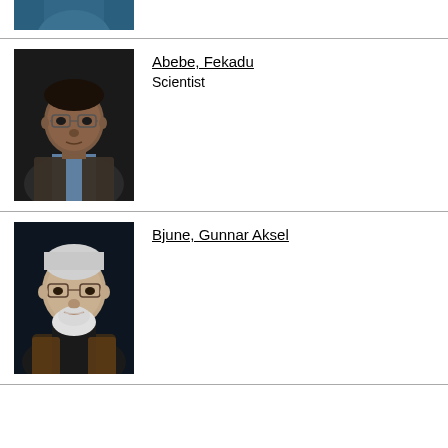[Figure (photo): Partial photo of a person at the top of the page, cropped, showing shoulders/upper body in blue clothing against dark background]
[Figure (photo): Portrait photo of Fekadu Abebe, a man wearing glasses and a plaid jacket with blue shirt, against dark background]
Abebe, Fekadu
Scientist
[Figure (photo): Portrait photo of Gunnar Aksel Bjune, an older man with white beard and glasses, wearing brown jacket and dark turtleneck, against dark background]
Bjune, Gunnar Aksel